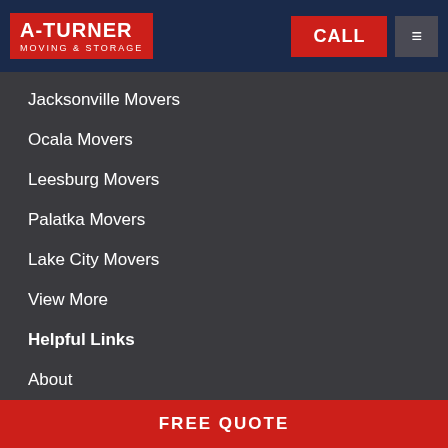A-TURNER MOVING & STORAGE | CALL | ≡
Jacksonville Movers
Ocala Movers
Leesburg Movers
Palatka Movers
Lake City Movers
View More
Helpful Links
About
Blog
Contact
FREE QUOTE